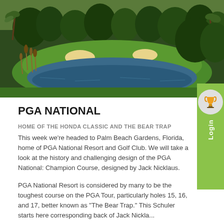[Figure (photo): Aerial view of PGA National golf course showing green fairways, water hazards, sand bunkers, and surrounding trees with lush vegetation]
PGA NATIONAL
HOME OF THE HONDA CLASSIC AND THE BEAR TRAP
This week we're headed to Palm Beach Gardens, Florida, home of PGA National Resort and Golf Club. We will take a look at the history and challenging design of the PGA National: Champion Course, designed by Jack Nicklaus.
PGA National Resort is considered by many to be the toughest course on the PGA Tour, particularly holes 15, 16, and 17, better known as "The Bear Trap." This Schuler starts here corresponding back of Jack Nickla...